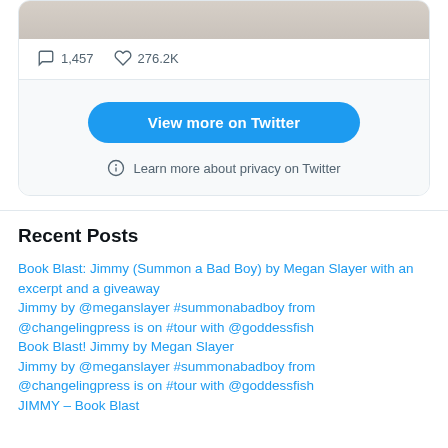[Figure (screenshot): Twitter/X embedded tweet card showing a beige/tan image at the top, reply count of 1,457 and like count of 276.2K, a 'View more on Twitter' button, and a 'Learn more about privacy on Twitter' notice]
Recent Posts
Book Blast: Jimmy (Summon a Bad Boy) by Megan Slayer with an excerpt and a giveaway
Jimmy by @meganslayer #summonabadboy from @changelingpress is on #tour with @goddessfish
Book Blast! Jimmy by Megan Slayer
Jimmy by @meganslayer #summonabadboy from @changelingpress is on #tour with @goddessfish
JIMMY – Book Blast